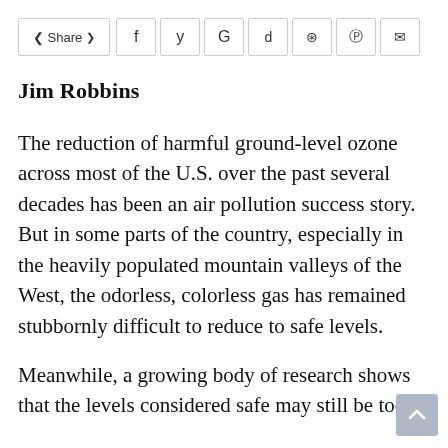Share ▶ f  y  G  reddit  whatsapp  pinterest  email
Jim Robbins
The reduction of harmful ground-level ozone across most of the U.S. over the past several decades has been an air pollution success story. But in some parts of the country, especially in the heavily populated mountain valleys of the West, the odorless, colorless gas has remained stubbornly difficult to reduce to safe levels.
Meanwhile, a growing body of research shows that the levels considered safe may still be too